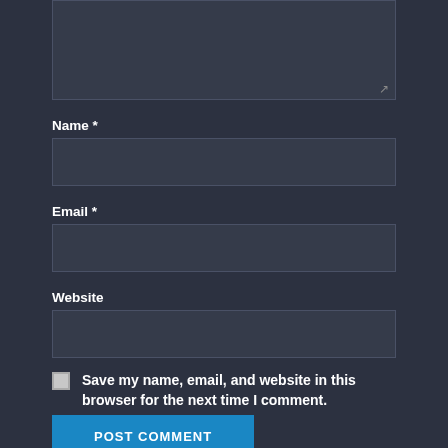[Figure (screenshot): Partially visible textarea input box with a resize handle in the bottom-right corner, dark themed]
Name *
[Figure (screenshot): Empty text input field for Name, dark themed]
Email *
[Figure (screenshot): Empty text input field for Email, dark themed]
Website
[Figure (screenshot): Empty text input field for Website, dark themed]
Save my name, email, and website in this browser for the next time I comment.
POST COMMENT